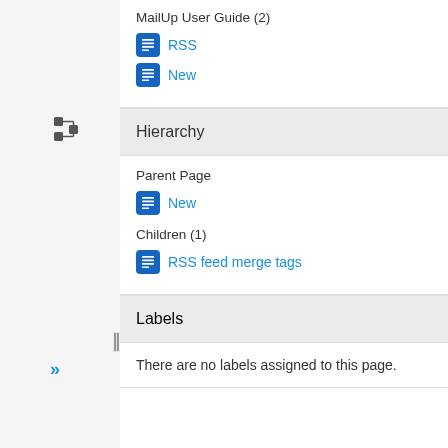MailUp User Guide (2)
RSS
New
Hierarchy
Parent Page
New
Children (1)
RSS feed merge tags
Labels
There are no labels assigned to this page.